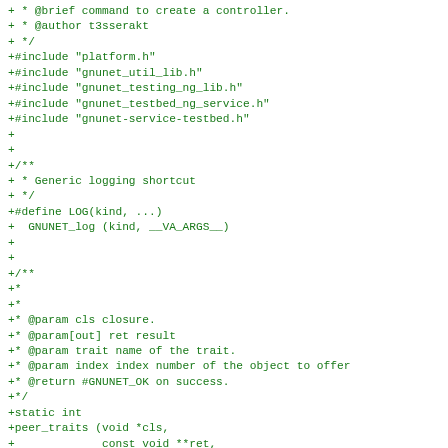+ * @brief command to create a controller.
+ * @author t3sserakt
+ */
+#include "platform.h"
+#include "gnunet_util_lib.h"
+#include "gnunet_testing_ng_lib.h"
+#include "gnunet_testbed_ng_service.h"
+#include "gnunet-service-testbed.h"
+
+
+/**
+ * Generic logging shortcut
+ */
+#define LOG(kind, ...) \
+  GNUNET_log (kind, __VA_ARGS__)
+
+
+/**
+*
+*
+* @param cls closure.
+* @param[out] ret result
+* @param trait name of the trait.
+* @param index index number of the object to offer
+* @return #GNUNET_OK on success.
+*/
+static int
+peer_traits (void *cls,
+             const void **ret,
+             const char *trait,